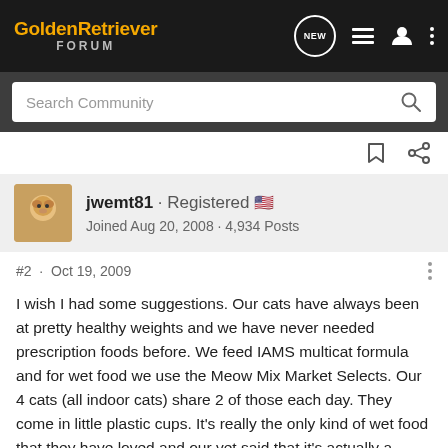GoldenRetriever FORUM
Search Community
jwemt81 · Registered
Joined Aug 20, 2008 · 4,934 Posts
#2 · Oct 19, 2009
I wish I had some suggestions. Our cats have always been at pretty healthy weights and we have never needed prescription foods before. We feed IAMS multicat formula and for wet food we use the Meow Mix Market Selects. Our 4 cats (all indoor cats) share 2 of those each day. They come in little plastic cups. It's really the only kind of wet food that they have loved and our vet said that it's actually a pretty good quality wet food since it's